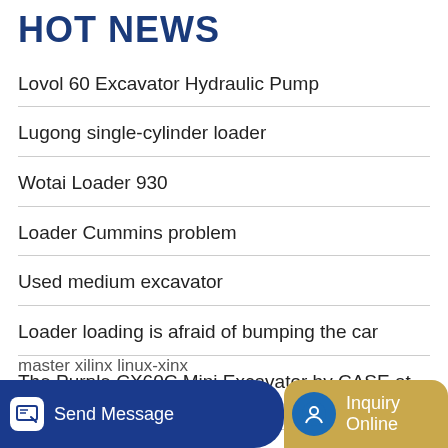HOT NEWS
Lovol 60 Excavator Hydraulic Pump
Lugong single-cylinder loader
Wotai Loader 930
Loader Cummins problem
Used medium excavator
Loader loading is afraid of bumping the car
The Purple CX60C Mini Excavator by CASE at the Heart of Fighting
Send Message   Inquiry Online   master xilinx linux-xinx